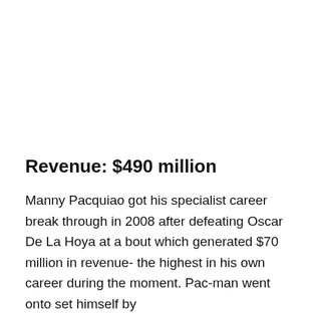Revenue: $490 million
Manny Pacquiao got his specialist career break through in 2008 after defeating Oscar De La Hoya at a bout which generated $70 million in revenue- the highest in his own career during the moment. Pac-man went onto set himself by